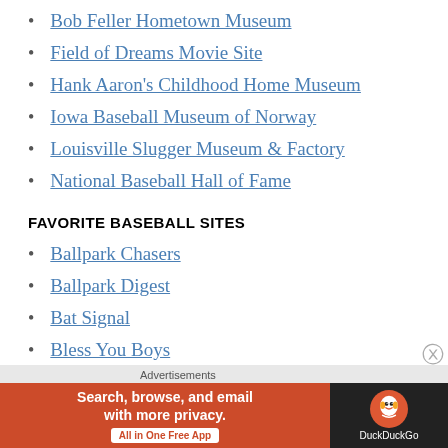Bob Feller Hometown Museum
Field of Dreams Movie Site
Hank Aaron's Childhood Home Museum
Iowa Baseball Museum of Norway
Louisville Slugger Museum & Factory
National Baseball Hall of Fame
FAVORITE BASEBALL SITES
Ballpark Chasers
Ballpark Digest
Bat Signal
Bless You Boys
Fox Sports Detroit
[partial link cut off]
[Figure (screenshot): DuckDuckGo advertisement banner: orange left panel with text 'Search, browse, and email with more privacy. All in One Free App' and dark right panel with DuckDuckGo logo and text]